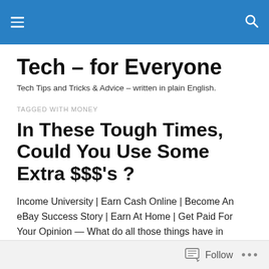Tech – for Everyone [navigation bar]
Tech – for Everyone
Tech Tips and Tricks & Advice – written in plain English.
TAGGED WITH MONEY
In These Tough Times, Could You Use Some Extra $$$'s ?
Income University | Earn Cash Online | Become An eBay Success Story | Earn At Home | Get Paid For Your Opinion — What do all those things have in common?
Follow